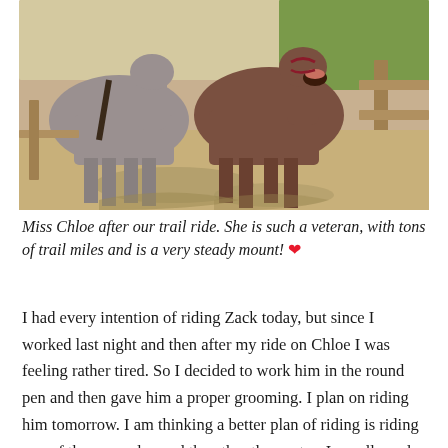[Figure (photo): Two horses standing outdoors on sandy ground near a fence, one appears to be yawning with mouth open, in bright daylight.]
Miss Chloe after our trail ride. She is such a veteran, with tons of trail miles and is a very steady mount! ♥
I had every intention of riding Zack today, but since I worked last night and then after my ride on Chloe I was feeling rather tired. So I decided to work him in the round pen and then gave him a proper grooming. I plan on riding him tomorrow. I am thinking a better plan of riding is riding one of them one day and the other the next as I usually end up biting off more than I can chew